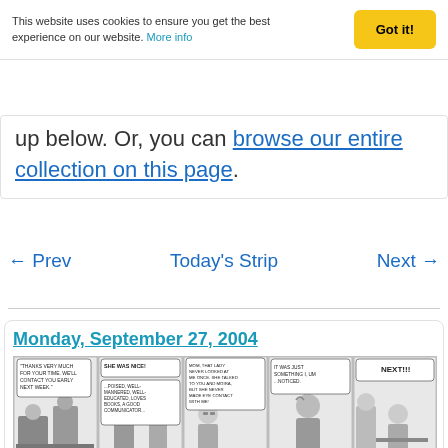This website uses cookies to ensure you get the best experience on our website. More info
up below. Or, you can browse our entire collection on this page.
← Prev   Today's Strip   Next →
Monday, September 27, 2004
[Figure (illustration): Comic strip panel showing five scenes: 1) Office interview scene with text 'Thanks very much for your time. We'll contact you early next week.' 2) Two women talking, one says 'She was nice!' with description '...poised, well-mannered, well-educated, loves books, a good communicator...' 3) Woman with glasses saying 'Mom, that lady never looked at me once. She talked to you and Moira, but she never made eye contact with me!' 4) Teen girl saying 'It was just something I, um ...noticed.' 5) Another scene with text 'NEXT!!!']